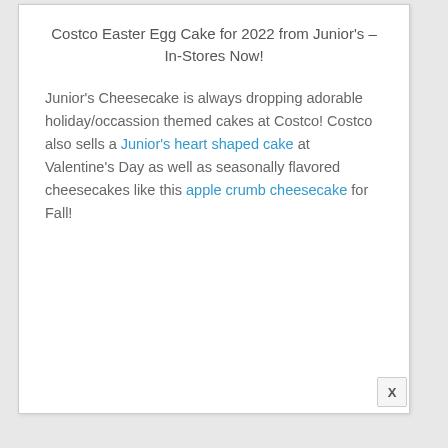Costco Easter Egg Cake for 2022 from Junior's – In-Stores Now!
Junior's Cheesecake is always dropping adorable holiday/occassion themed cakes at Costco! Costco also sells a Junior's heart shaped cake at Valentine's Day as well as seasonally flavored cheesecakes like this apple crumb cheesecake for Fall!